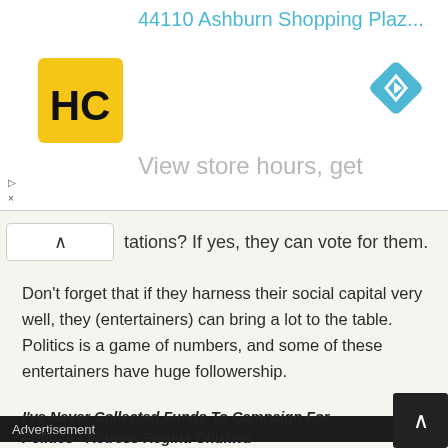[Figure (screenshot): Advertisement banner with HC logo (yellow square with HC letters), navigation arrow icon, address text '44110 Ashburn Shopping Plaz...' in cyan, and 'View store hours, get' in gray. Small play/close icons on left side.]
tations? If yes, they can vote for them.
Don't forget that if they harness their social capital very well, they (entertainers) can bring a lot to the table. Politics is a game of numbers, and some of these entertainers have huge followership.
Advertisement
Some of these entertainers-turned-politicians have faced criticism from their fans. What are your thoughts on that?
I've Never Collected Funds To Campaign For Politics - Actress Regina Chukwu